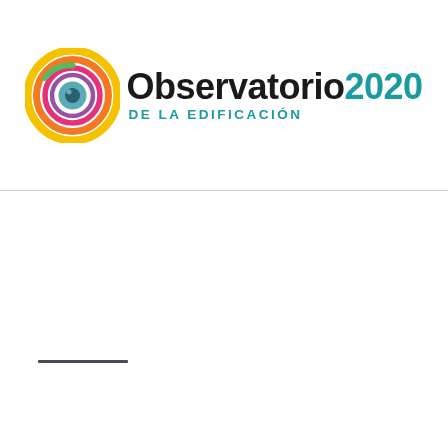[Figure (logo): Observatorio 2020 de la Edificación logo — circular multicolor eye/target icon on the left, text 'Observatorio2020' with 'DE LA EDIFICACIÓN' subtitle in teal]